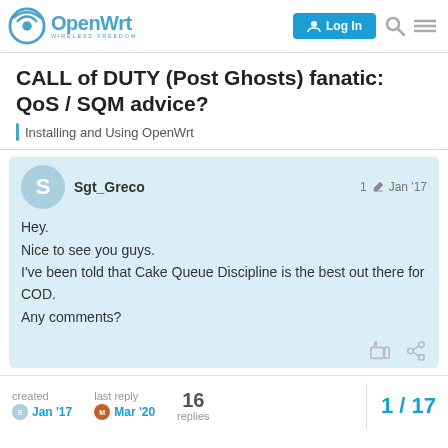OpenWrt — WIRELESS FREEDOM | Log In
CALL of DUTY (Post Ghosts) fanatic: QoS / SQM advice?
Installing and Using OpenWrt
Sgt_Greco  1  Jan '17
Hey.
Nice to see you guys.
I've been told that Cake Queue Discipline is the best out there for COD.
Any comments?
created Jan '17  last reply Mar '20  16 replies  1/17